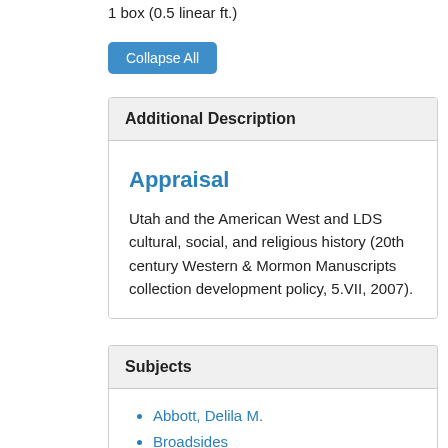1 box (0.5 linear ft.)
Collapse All
Additional Description
Appraisal
Utah and the American West and LDS cultural, social, and religious history (20th century Western & Mormon Manuscripts collection development policy, 5.VII, 2007).
Subjects
Abbott, Delila M.
Broadsides
Civic Activism
Drafts (Documents)
Letters
Newspapers